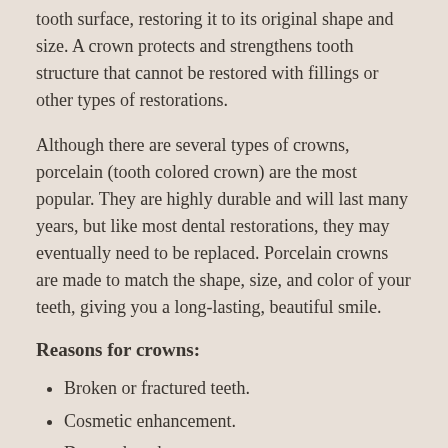tooth surface, restoring it to its original shape and size. A crown protects and strengthens tooth structure that cannot be restored with fillings or other types of restorations.
Although there are several types of crowns, porcelain (tooth colored crown) are the most popular. They are highly durable and will last many years, but like most dental restorations, they may eventually need to be replaced. Porcelain crowns are made to match the shape, size, and color of your teeth, giving you a long-lasting, beautiful smile.
Reasons for crowns:
Broken or fractured teeth.
Cosmetic enhancement.
Decayed teeth.
Fractured fillings.
Large fillings.